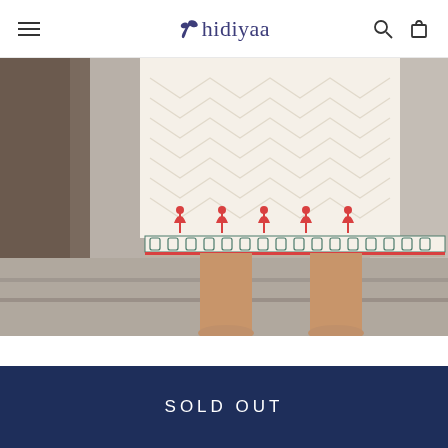Chidiyaa — navigation bar with hamburger menu, logo, search and cart icons
[Figure (photo): Close-up photograph of the lower half of a woman wearing a white block-printed kurta/dress with red floral motifs and dark teal geometric border trim, standing barefoot on stone steps outside a building.]
< (carousel left arrow) ● ○ ○ ○ ○ > (carousel right arrow)
SOLD OUT